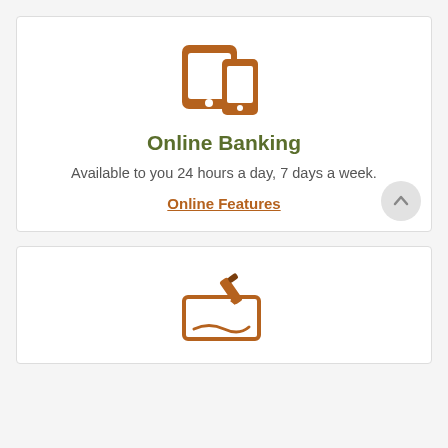[Figure (illustration): Icon of a tablet and smartphone side by side, rendered in brown/orange color]
Online Banking
Available to you 24 hours a day, 7 days a week.
Online Features
[Figure (illustration): Icon of a pen signing a check, rendered in brown/orange color]